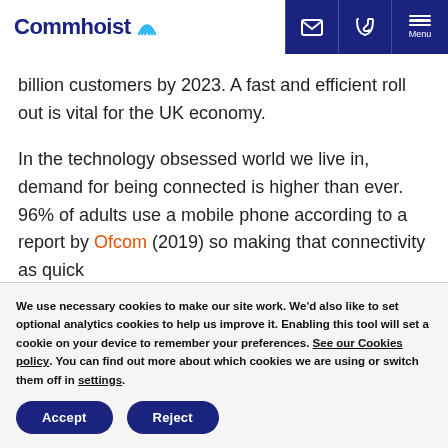Commhoist [logo with signal icon] | email | phone | Menu
billion customers by 2023. A fast and efficient roll out is vital for the UK economy.
In the technology obsessed world we live in, demand for being connected is higher than ever. 96% of adults use a mobile phone according to a report by Ofcom (2019) so making that connectivity as quick
We use necessary cookies to make our site work. We'd also like to set optional analytics cookies to help us improve it. Enabling this tool will set a cookie on your device to remember your preferences. See our Cookies policy. You can find out more about which cookies we are using or switch them off in settings.
Accept | Reject